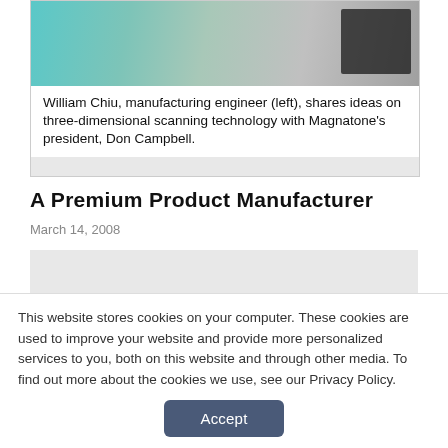[Figure (photo): Photo of William Chiu, manufacturing engineer (left), sharing ideas on three-dimensional scanning technology with Magnatone's president, Don Campbell.]
William Chiu, manufacturing engineer (left), shares ideas on three-dimensional scanning technology with Magnatone's president, Don Campbell.
A Premium Product Manufacturer
March 14, 2008
This website stores cookies on your computer. These cookies are used to improve your website and provide more personalized services to you, both on this website and through other media. To find out more about the cookies we use, see our Privacy Policy.